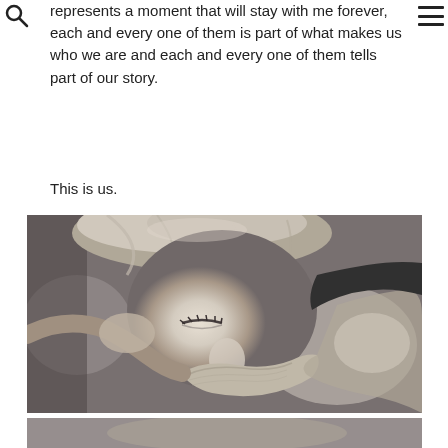represents a moment that will stay with me forever, each and every one of them is part of what makes us who we are and each and every one of them tells part of our story.
This is us.
[Figure (photo): Black and white photograph of a young woman leaning forward, holding a towel to her face with both hands, eyes closed, appearing exhausted or emotional after physical exertion.]
[Figure (photo): Partial view of another black and white photograph at the bottom of the page, cropped.]